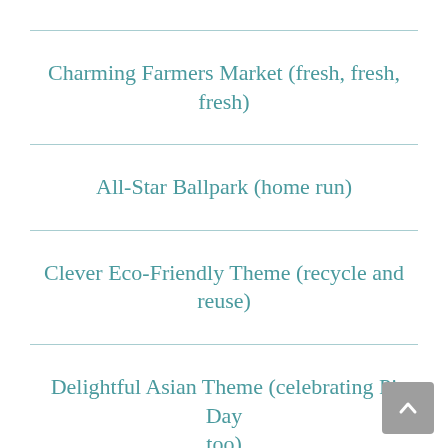Charming Farmers Market (fresh, fresh, fresh)
All-Star Ballpark (home run)
Clever Eco-Friendly Theme (recycle and reuse)
Delightful Asian Theme (celebrating Pi Day too)